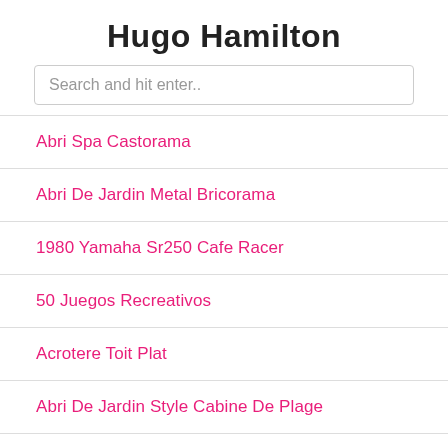Hugo Hamilton
Search and hit enter..
Abri Spa Castorama
Abri De Jardin Metal Bricorama
1980 Yamaha Sr250 Cafe Racer
50 Juegos Recreativos
Acrotere Toit Plat
Abri De Jardin Style Cabine De Plage
Abris Bois Castorama
Abri De Jardin Doccasion Le Bon Coin
Abri De Jardin Castorama Metal
Afbeelding Verjaardag Vrouw Humor